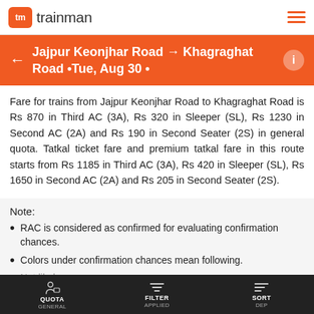tm trainman
Jajpur Keonjhar Road → Khagraghat Road •Tue, Aug 30 •
Fare for trains from Jajpur Keonjhar Road to Khagraghat Road is Rs 870 in Third AC (3A), Rs 320 in Sleeper (SL), Rs 1230 in Second AC (2A) and Rs 190 in Second Seater (2S) in general quota. Tatkal ticket fare and premium tatkal fare in this route starts from Rs 1185 in Third AC (3A), Rs 420 in Sleeper (SL), Rs 1650 in Second AC (2A) and Rs 205 in Second Seater (2S).
Note:
RAC is considered as confirmed for evaluating confirmation chances.
Colors under confirmation chances mean following.
QUOTA GENERAL | FILTER APPLIED | SORT DEP